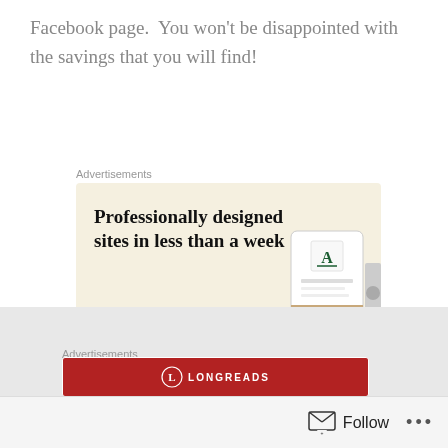Facebook page.  You won't be disappointed with the savings that you will find!
Advertisements
[Figure (screenshot): Advertisement banner with beige background showing 'Professionally designed sites in less than a week' text, a green 'Explore options' button, and website mockup images on the right.]
Advertisements
[Figure (logo): Longreads advertisement banner with red background and Longreads logo.]
Follow ...